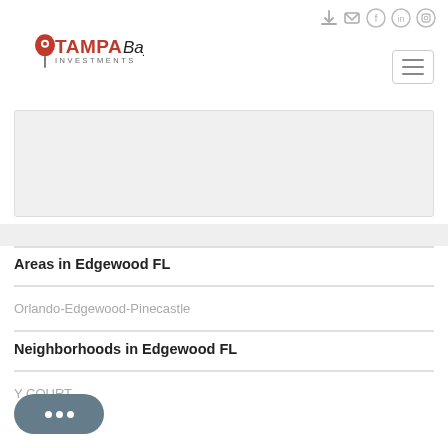[Figure (logo): Tampa Bay Investments logo with map pin icon]
[Figure (other): Navigation icons: login, email, Facebook, LinkedIn, Instagram]
[Figure (other): Hamburger menu button]
[Figure (other): Map area placeholder (light gray box with border)]
Areas in Edgewood FL
Orlando-Edgewood-Pinecastle
Neighborhoods in Edgewood FL
Y COURT
[Figure (other): Chat bubble widget with three dots]